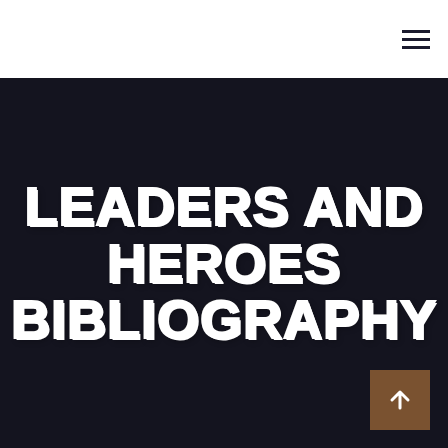LEADERS AND HEROES BIBLIOGRAPHY